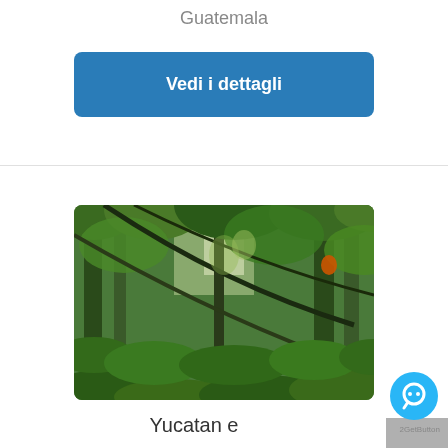Guatemala
Vedi i dettagli
[Figure (photo): Dense tropical jungle/rainforest scene with tall trees, hanging vines, and lush green ferns and foliage in varying shades of green, with light filtering through the canopy]
Yucatan e